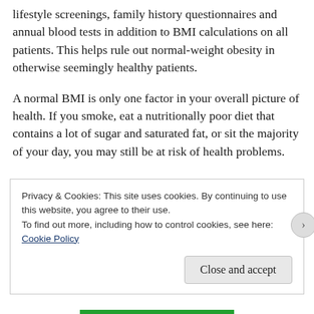lifestyle screenings, family history questionnaires and annual blood tests in addition to BMI calculations on all patients. This helps rule out normal-weight obesity in otherwise seemingly healthy patients.
A normal BMI is only one factor in your overall picture of health. If you smoke, eat a nutritionally poor diet that contains a lot of sugar and saturated fat, or sit the majority of your day, you may still be at risk of health problems.
Privacy & Cookies: This site uses cookies. By continuing to use this website, you agree to their use.
To find out more, including how to control cookies, see here: Cookie Policy
Close and accept